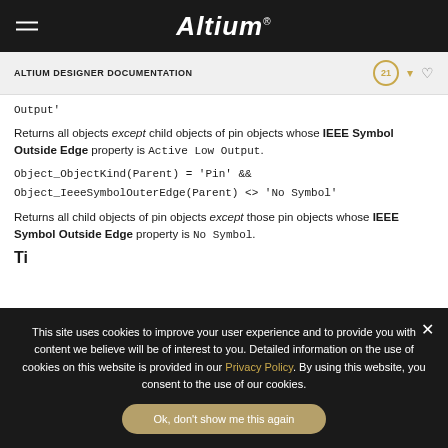Altium
ALTIUM DESIGNER DOCUMENTATION
Output'
Returns all objects except child objects of pin objects whose IEEE Symbol Outside Edge property is Active Low Output.
Returns all child objects of pin objects except those pin objects whose IEEE Symbol Outside Edge property is No Symbol.
Ti...
This site uses cookies to improve your user experience and to provide you with content we believe will be of interest to you. Detailed information on the use of cookies on this website is provided in our Privacy Policy. By using this website, you consent to the use of our cookies.
Ok, don't show me this again